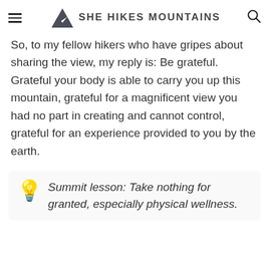SHE HIKES MOUNTAINS
So, to my fellow hikers who have gripes about sharing the view, my reply is: Be grateful. Grateful your body is able to carry you up this mountain, grateful for a magnificent view you had no part in creating and cannot control, grateful for an experience provided to you by the earth.
💡 Summit lesson: Take nothing for granted, especially physical wellness.